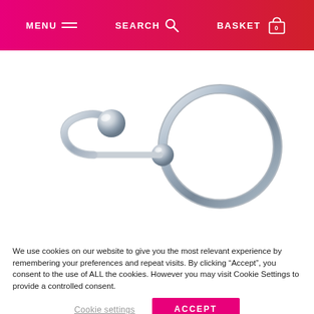MENU  SEARCH  BASKET 0
[Figure (photo): A silver metallic body jewelry piece consisting of a curved bar with a ball end on one side, connected to a large circular ring with a ball connector in the center, on a white background.]
We use cookies on our website to give you the most relevant experience by remembering your preferences and repeat visits. By clicking “Accept”, you consent to the use of ALL the cookies. However you may visit Cookie Settings to provide a controlled consent.
Cookie settings    ACCEPT